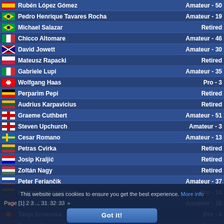Rubén López Gómez - Amateur - 50
Pedro Henrique Tavares Rocha - Amateur - 19
Michael Salazar - Retired
Chicco Altomare - Amateur - 46
David Jowett - Amateur - 30
Mateusz Rapacki - Retired
Gabriele Lupi - Amateur - 35
Wolfgang Haas - Pro - 3
Perparim Pepi - Retired
Audrius Karpavicius - Retired
Graeme Cuthbert - Amateur - 51
Steven Upchurch - Amateur - 3
Cesar Romano - Amateur - 13
Petras Cvirka - Retired
Josip Kraljić - Retired
Zoltán Nagy - Retired
Peter Feriančik - Amateur - 37
Laurynas Jurgelionis - Pro - 14
Bruno Carvalho - Amateur - 16
Tanja Arsovska - Pro - 4
Freddy Blue - Retired
This website uses cookies to ensure you get the best experience. More info
Page [1] 2 3 ... 31 32 33 »